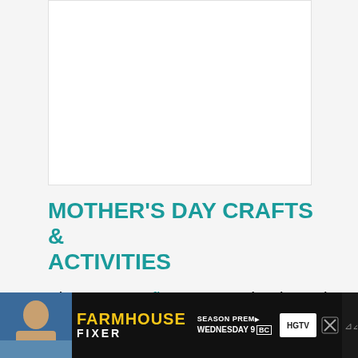[Figure (photo): Placeholder image area (white rectangle) for a photo, likely related to Mother's Day crafts]
MOTHER'S DAY CRAFTS & ACTIVITIES
These paper flowers are simple and totally adorable. Mom will love them! Via Creatiful Kids
[Figure (screenshot): Advertisement banner for HGTV show 'Farmhouse Fixer' - Season Premiere Wednesday 9 BC, featuring a man in front of a house]